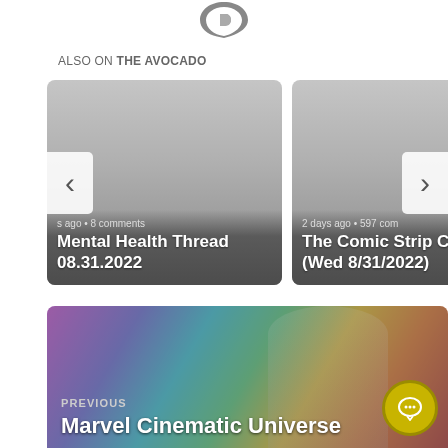[Figure (logo): Disqus logo icon - dark speech bubble with 'D' shape]
ALSO ON THE AVOCADO
[Figure (screenshot): Two article cards side by side. Left card: 's ago • 8 comments / Mental Health Thread 08.31.2022'. Right card: '2 days ago • 597 com... / The Comic Strip Club (Wed 8/31/2022)'. Navigation arrows on left and right edges.]
[Figure (photo): Previous article banner: Marvel Cinematic Universe - colorful psychedelic background with figures/silhouettes. Shows 'PREVIOUS' label above 'Marvel Cinematic Universe' title. Chat bubble icon in bottom right corner.]